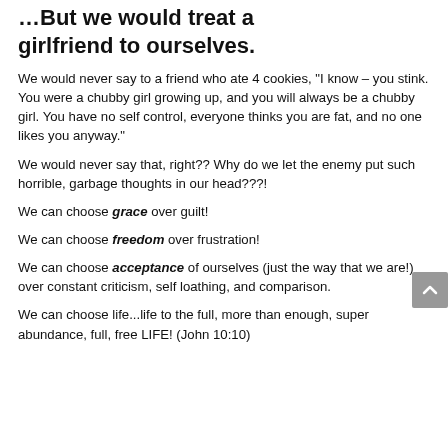…But we would treat a girlfriend to ourselves.
We would never say to a friend who ate 4 cookies, "I know – you stink. You were a chubby girl growing up, and you will always be a chubby girl. You have no self control, everyone thinks you are fat, and no one likes you anyway."
We would never say that, right?? Why do we let the enemy put such horrible, garbage thoughts in our head???!
We can choose grace over guilt!
We can choose freedom over frustration!
We can choose acceptance of ourselves (just the way that we are!) over constant criticism, self loathing, and comparison.
We can choose life...life to the full, more than enough, super abundance, full, free LIFE! (John 10:10)